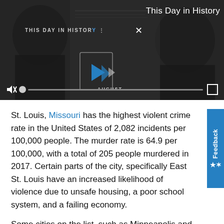[Figure (screenshot): Video player screenshot showing 'This Day in History' branded video player with a dark background, calendar icon with play button overlay labeled AUGUST, mute icon, progress bar, and fullscreen button. Top right shows 'This Day in History' text header.]
St. Louis, Missouri has the highest violent crime rate in the United States of 2,082 incidents per 100,000 people. The murder rate is 64.9 per 100,000, with a total of 205 people murdered in 2017. Certain parts of the city, specifically East St. Louis have an increased likelihood of violence due to unsafe housing, a poor school system, and a failing economy.
Some cities on the list, such as Minneapolis and Oakland, have problematically high rape and robbery